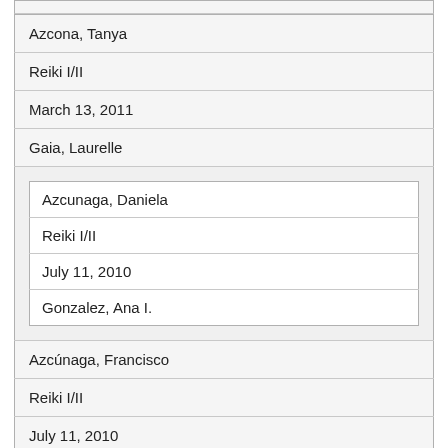| Azcona, Tanya |
| Reiki I/II |
| March 13, 2011 |
| Gaia, Laurelle |
| [nested: Azcunaga, Daniela | Reiki I/II | July 11, 2010 | Gonzalez, Ana I.] |
| Azcúnaga, Francisco |
| Reiki I/II |
| July 11, 2010 |